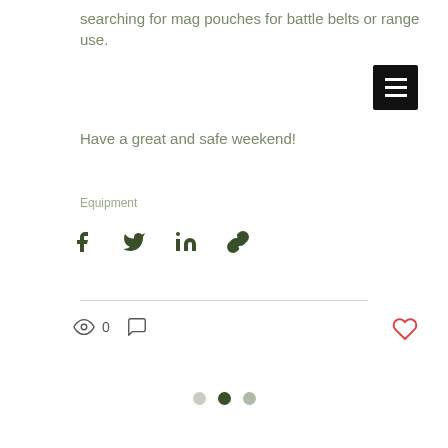searching for mag pouches for battle belts or range use.
[Figure (screenshot): Black hamburger menu button with three white horizontal lines]
Have a great and safe weekend!
Equipment
[Figure (infographic): Social share icons: Facebook, Twitter, LinkedIn, and link/chain icon in dark olive green]
[Figure (infographic): Engagement stats row: eye icon with 0 views, comment bubble icon, red heart/like icon]
[Figure (infographic): Pagination dots: three dots, middle one dark olive (active), others light gray]